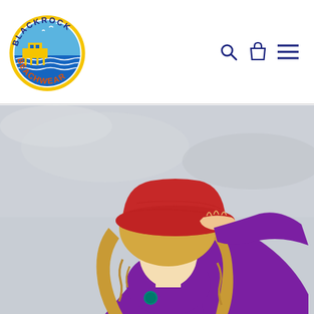[Figure (logo): Blackrock Beachwear circular logo with yellow building/pier on blue ocean background, orange text reading BLACKROCK on top arc and BEACHWEAR on bottom arc, yellow circle border]
[Figure (photo): Woman with blonde curly hair wearing a red wide-brim hat and purple long-sleeve swimsuit/rashguard, holding her hat brim, smiling at the beach with overcast sky in background]